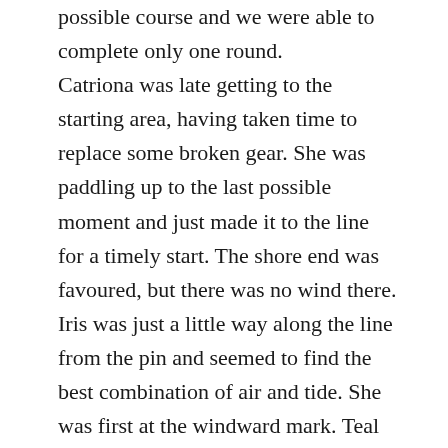possible course and we were able to complete only one round. Catriona was late getting to the starting area, having taken time to replace some broken gear. She was paddling up to the last possible moment and just made it to the line for a timely start. The shore end was favoured, but there was no wind there. Iris was just a little way along the line from the pin and seemed to find the best combination of air and tide. She was first at the windward mark. Teal had found a similar line to be second, Catriona third. At the mark, Iris was obliged to give mark room to a late running Piper. Disturbing each others air, they drifted away from the mark to allow Teal and Catriona to sail higher.